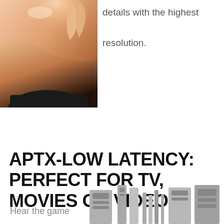[Figure (photo): Partial view of a woman smiling, with her hand raised near her face, wearing a black top. Only the lower portion of the face/shoulder/arm area is visible — cropped at the top.]
details with the highest resolution.
APTX-LOW LATENCY: PERFECT FOR TV, MOVIES OR VIDEOS
Hear the game
[Figure (photo): Partial bottom view of what appears to be electronic devices or speakers arranged side by side.]